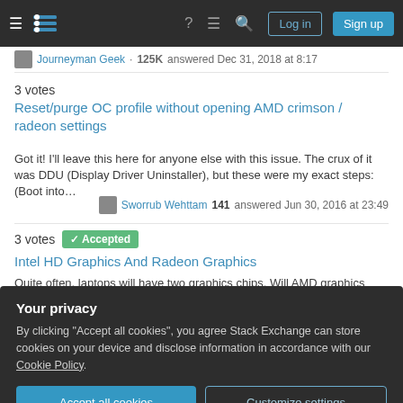Stack Exchange navigation bar with Log in and Sign up buttons
Journeyman Geek · 125K answered Dec 31, 2018 at 8:17
3 votes
Reset/purge OC profile without opening AMD crimson / radeon settings
Got it! I'll leave this here for anyone else with this issue. The crux of it was DDU (Display Driver Uninstaller), but these were my exact steps: (Boot into…
Sworrub Wehttam 141 answered Jun 30, 2016 at 23:49
3 votes Accepted
Intel HD Graphics And Radeon Graphics
Quite often, laptops will have two graphics chips. Will AMD graphics cause
Your privacy
By clicking "Accept all cookies", you agree Stack Exchange can store cookies on your device and disclose information in accordance with our Cookie Policy.
Accept all cookies
Customize settings
739